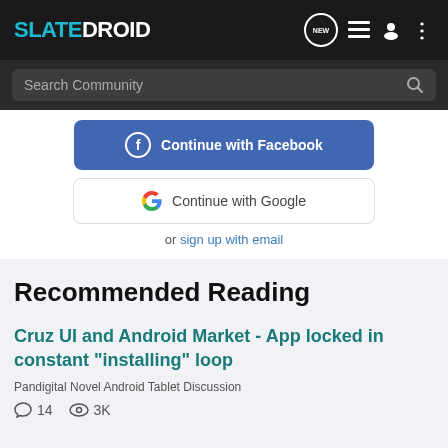SLATEDROID
Search Community
Continue with Facebook
Continue with Google
or sign up with email
Recommended Reading
Cruz UI and Android Market - App locked in constant "installing" loop
Pandigital Novel Android Tablet Discussion
14  3K